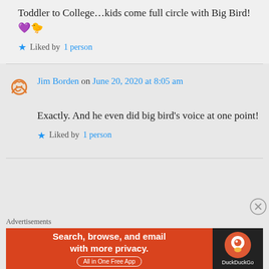Toddler to College…kids come full circle with Big Bird! 💜🐣
★ Liked by 1 person
Jim Borden on June 20, 2020 at 8:05 am
Exactly. And he even did big bird's voice at one point!
★ Liked by 1 person
Advertisements
[Figure (screenshot): DuckDuckGo advertisement banner: 'Search, browse, and email with more privacy. All in One Free App' with DuckDuckGo logo on dark right panel.]